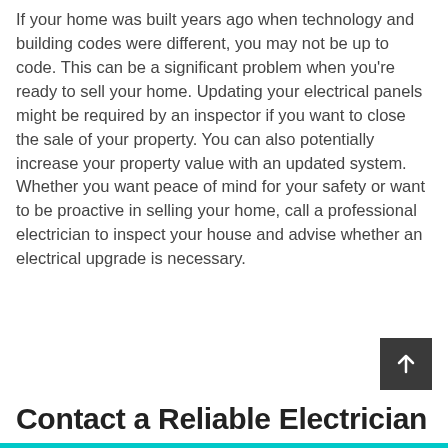If your home was built years ago when technology and building codes were different, you may not be up to code. This can be a significant problem when you're ready to sell your home. Updating your electrical panels might be required by an inspector if you want to close the sale of your property. You can also potentially increase your property value with an updated system. Whether you want peace of mind for your safety or want to be proactive in selling your home, call a professional electrician to inspect your house and advise whether an electrical upgrade is necessary.
Contact a Reliable Electrician